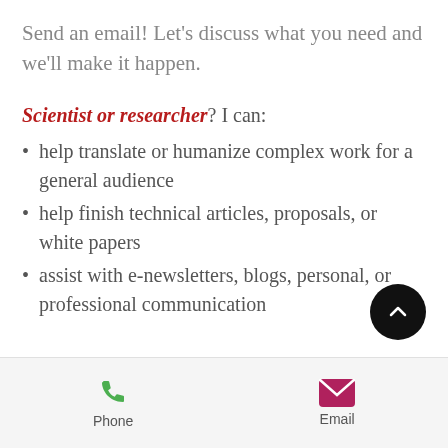Send an email! Let's discuss what you need and we'll make it happen.
Scientist or researcher? I can:
help translate or humanize complex work for a general audience
help finish technical articles, proposals, or white papers
assist with e-newsletters, blogs, personal, or professional communication
Phone  Email